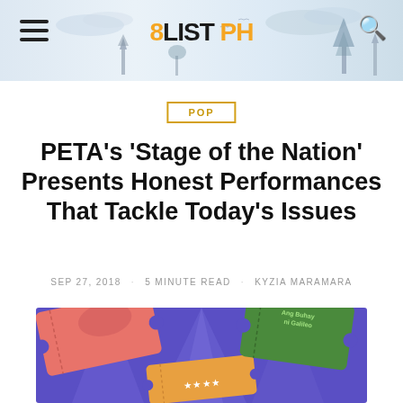8LIST PH — website header with navigation
POP
PETA's 'Stage of the Nation' Presents Honest Performances That Tackle Today's Issues
SEP 27, 2018 · 5 MINUTE READ · KYZIA MARAMARA
[Figure (illustration): Promotional image showing ticket stubs for PETA shows including Ang Buhay ni Galileo on a purple/blue spotlight background]